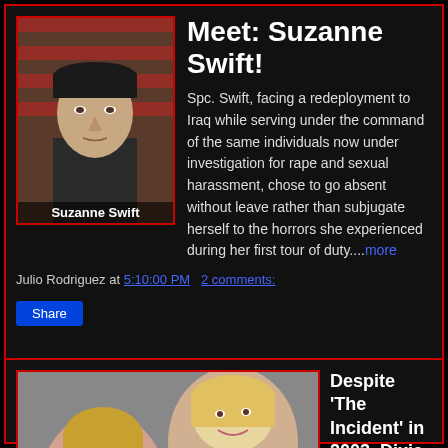[Figure (photo): Military portrait photo of Suzanne Swift in uniform with American flag background. Caption reads: Suzanne Swift]
Meet: Suzanne Swift!
Spc. Swift, facing a redeployment to Iraq while serving under the command of the same individuals now under investigation for rape and sexual harassment, chose to go absent without leave rather than subjugate herself to the horrors she experienced during her first tour of duty....more
Julio Rodriguez at 5:10:00 PM   2 comments:
Share
[Figure (photo): Photo of two blonde women (Dixie Chicks members) smiling together, one with dark outfit and one in blue]
Despite 'The Incident' in 2003, Dixie Chicks still going strong
The album was a smash, selling